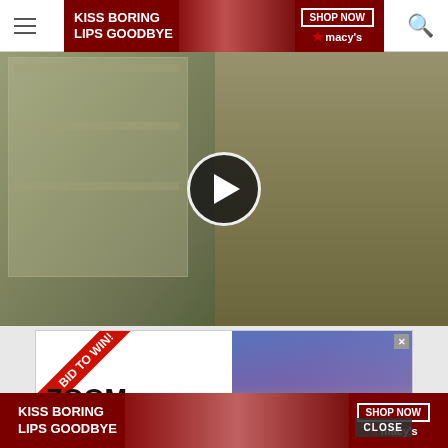[Figure (screenshot): Website screenshot showing a navigation bar with hamburger menu on left and search icon on right, with a Macy's advertisement banner in the center top reading 'KISS BORING LIPS GOODBYE' with 'SHOP NOW' button and Macy's star logo]
[Figure (screenshot): Video thumbnail showing a doctor in a white lab coat and bow tie standing in a medical office, with a play button overlay in the center]
[Figure (screenshot): Advertisement banner with 'BID TO WIN!' red ribbon diagonal banner, 'ZOOM w/ BEST-SELLING' text on left side, and a person wearing a knit hat on right side with 'CLOSE' button]
[Figure (screenshot): Bottom Macy's advertisement banner reading 'KISS BORING LIPS GOODBYE' with 'SHOP NOW' button and Macy's star logo on dark red background]